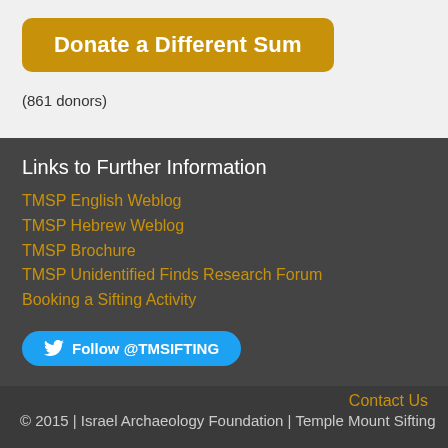Donate a Different Sum
(861 donors)
Links to Further Information
TMSP English Weblog
TMSP Hebrew Weblog
TMSP Brochure
TMSP Unidentified Finds Research Forum
Booking a Sifting Activity
Follow @TMSIFTING
Contact Us
© 2015 | Israel Archaeology Foundation | Temple Mount Sifting
n (Israel)   |   $175 – Jean-Claude Levy (France, Villeneuve-la-Garenne)